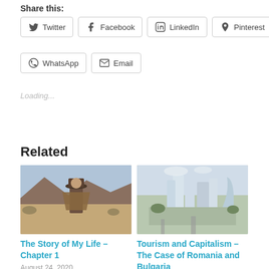Share this:
Twitter
Facebook
LinkedIn
Pinterest
WhatsApp
Email
Loading...
Related
[Figure (photo): Man in cowboy hat and poncho standing in a desert landscape]
The Story of My Life – Chapter 1
August 24, 2020
[Figure (photo): Aerial view of modern futuristic city buildings and architecture]
Tourism and Capitalism – The Case of Romania and Bulgaria